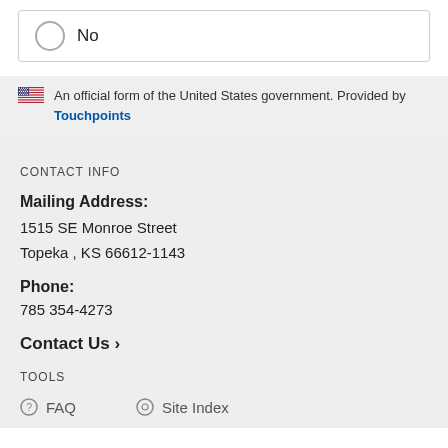No
An official form of the United States government. Provided by Touchpoints
CONTACT INFO
Mailing Address:
1515 SE Monroe Street
Topeka , KS 66612-1143
Phone:
785 354-4273
Contact Us ›
TOOLS
FAQ
Site Index